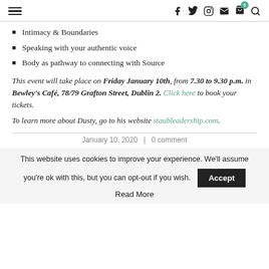≡  f  twitter  instagram  mail  cart(0)  search
Intimacy & Boundaries
Speaking with your authentic voice
Body as pathway to connecting with Source
This event will take place on Friday January 10th, from 7.30 to 9.30 p.m. in Bewley's Café, 78/79 Grafton Street, Dublin 2. Click here to book your tickets.
To learn more about Dusty, go to his website staubleadership.com.
January 10, 2020  |  0 comment
This website uses cookies to improve your experience. We'll assume you're ok with this, but you can opt-out if you wish. Accept
Read More